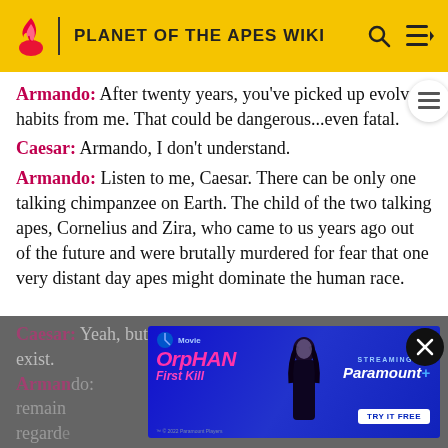PLANET OF THE APES WIKI
Armando: After twenty years, you've picked up evolve habits from me. That could be dangerous...even fatal.
Caesar: Armando, I don't understand.
Armando: Listen to me, Caesar. There can be only one talking chimpanzee on Earth. The child of the two talking apes, Cornelius and Zira, who came to us years ago out of the future and were brutally murdered for fear that one very distant day apes might dominate the human race.
Caesar: Yeah, but outside of you, nobody even knows I exist.
Armando: ...ar remain... regarded...
[Figure (screenshot): Advertisement for Orphan First Kill movie streaming on Paramount+, with Try It Free button, shown as an overlay ad banner]